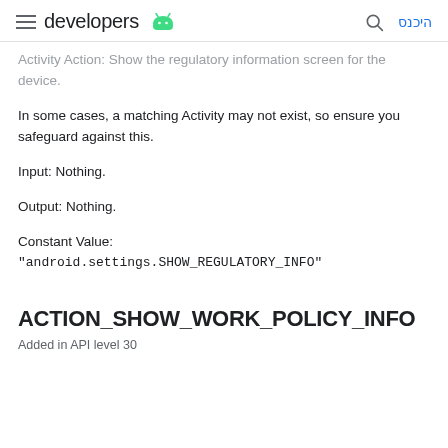developers [android logo] | [search icon] היכנס
Activity Action: Show the regulatory information screen for the device.
In some cases, a matching Activity may not exist, so ensure you safeguard against this.
Input: Nothing.
Output: Nothing.
Constant Value: "android.settings.SHOW_REGULATORY_INFO"
ACTION_SHOW_WORK_POLICY_INFO
Added in API level 30